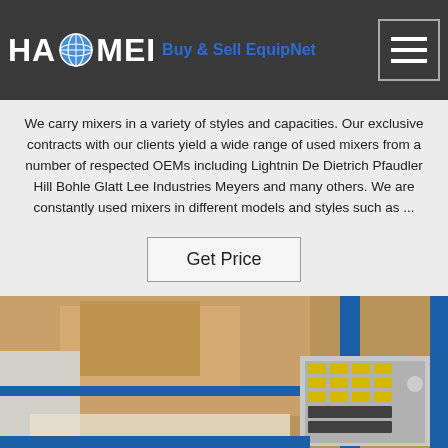HAOMEI Buy & Sell EquipNet
We carry mixers in a variety of styles and capacities. Our exclusive contracts with our clients yield a wide range of used mixers from a number of respected OEMs including Lightnin De Dietrich Pfaudler Hill Bohle Glatt Lee Industries Meyers and many others. We are constantly used mixers in different models and styles such as ...
[Figure (other): Get Price button - a rectangular bordered button with text 'Get Price']
[Figure (photo): Photograph of industrial mixer equipment showing control panels with buttons and dials, cardboard boxes in background, blue structural elements visible]